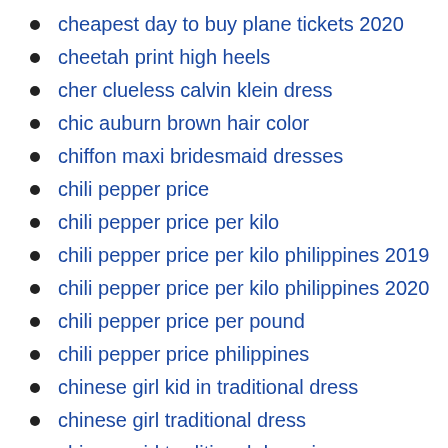cheapest day to buy plane tickets 2020
cheetah print high heels
cher clueless calvin klein dress
chic auburn brown hair color
chiffon maxi bridesmaid dresses
chili pepper price
chili pepper price per kilo
chili pepper price per kilo philippines 2019
chili pepper price per kilo philippines 2020
chili pepper price per pound
chili pepper price philippines
chinese girl kid in traditional dress
chinese girl traditional dress
chinese girl traditional dress images
chinese girls dress up